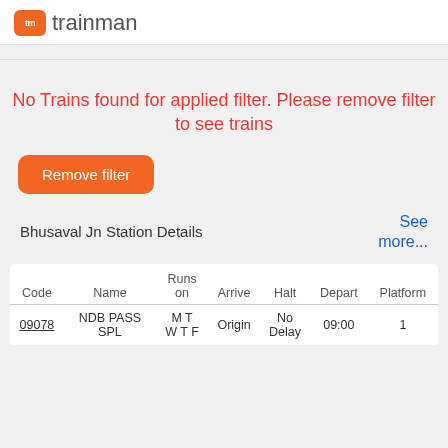tm trainman
No Trains found for applied filter. Please remove filter to see trains
Remove filter
Bhusaval Jn Station Details
See more...
| Code | Name | Runs on | Arrive | Halt | Depart | Platform |
| --- | --- | --- | --- | --- | --- | --- |
| 09078 | NDB PASS SPL | M T W T F | Origin | No Delay | 09:00 | 1 |